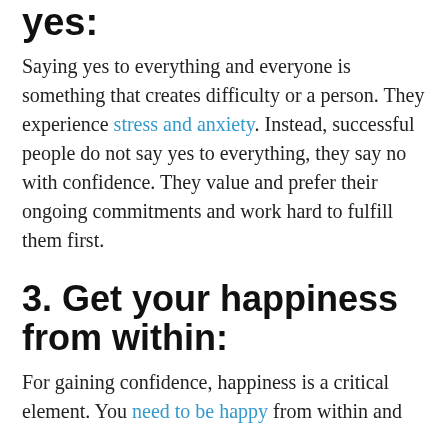yes:
Saying yes to everything and everyone is something that creates difficulty or a person. They experience stress and anxiety. Instead, successful people do not say yes to everything, they say no with confidence. They value and prefer their ongoing commitments and work hard to fulfill them first.
3. Get your happiness from within:
For gaining confidence, happiness is a critical element. You need to be happy from within and